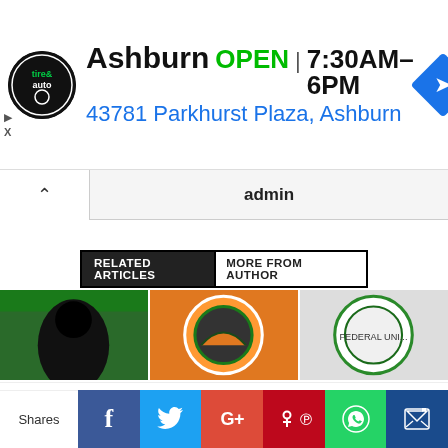[Figure (advertisement): Tire and auto service ad: logo circle, Ashburn OPEN 7:30AM-6PM, 43781 Parkhurst Plaza Ashburn, navigation icon]
admin
RELATED ARTICLES | MORE FROM AUTHOR
[Figure (illustration): Three article thumbnail images in a row: green/black silhouette, orange circular logo, green university crest]
We use cookies on our website to give you the most relevant experience by remembering your preferences and repeat visits. By clicking "Accept All", you consent to the use of ALL the cookies. However, you may visit "Cookie Settings" to provide a controlled consent.
[Figure (infographic): Social share bar: Shares label, Facebook, Twitter, Google+, Pinterest, WhatsApp, WonderPush icons]